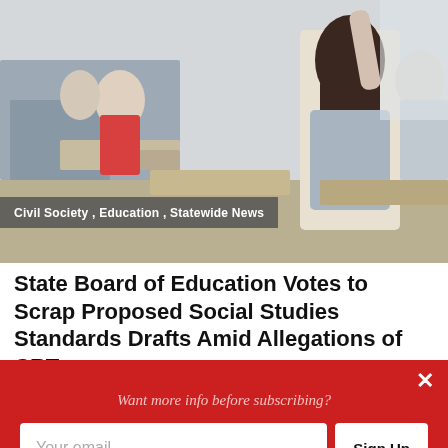[Figure (photo): Classroom photo showing students at desks with hands raised, viewed from behind]
Civil Society , Education , Statewide News
State Board of Education Votes to Scrap Proposed Social Studies Standards Drafts Amid Allegations of CRT
[Figure (photo): Close-up photo of an older man speaking, partially visible]
Want more info before subscribing?